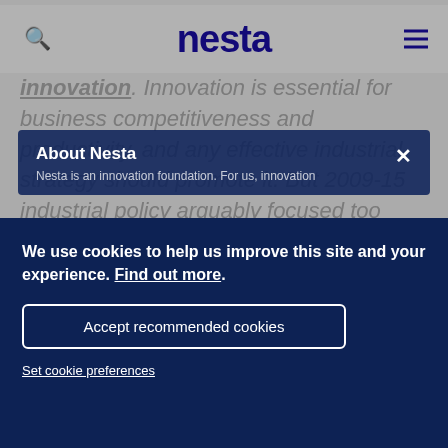nesta
Innovation. Innovation is essential for business competitiveness and productivity, and any effective industrial strategy should promote it. But 2009-15 industrial policy arguably focused too much on science, and a science-push
About Nesta
Nesta is an innovation foundation. For us, innovation
We use cookies to help us improve this site and your experience. Find out more.
Accept recommended cookies
Set cookie preferences